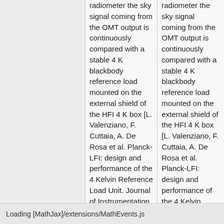radiometer the sky signal coming from the OMT output is continuously compared with a stable 4 K blackbody reference load mounted on the external shield of the HFI 4 K box [L. Valenziano, F. Cuttaia, A. De Rosa et al. Planck-LFI: design and performance of the 4 Kelvin Reference Load Unit. Journal of Instrumentation,
radiometer the sky signal coming from the OMT output is continuously compared with a stable 4 K blackbody reference load mounted on the external shield of the HFI 4 K box [L. Valenziano, F. Cuttaia, A. De Rosa et al. Planck-LFI: design and performance of the 4 Kelvin Reference Load Unit. Journal of Instrumentation, 4:2006, 2009.]
Loading [MathJax]/extensions/MathEvents.js